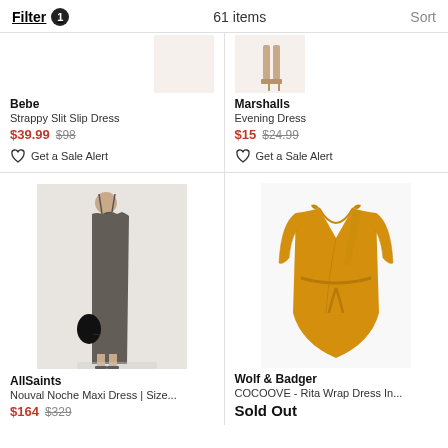Filter 1    61items    Sort
[Figure (photo): Partial view of a model's legs/shoes in light outfit - top portion of product listing]
Bebe
Strappy Slit Slip Dress
$39.99 $98
Get a Sale Alert
Marshalls
Evening Dress
$15 $24.99
Get a Sale Alert
[Figure (photo): Model wearing a long dark patterned slip maxi dress with black sandals and bag]
AllSaints
Nouval Noche Maxi Dress | Size...
$164 $329
[Figure (photo): Mustard/golden yellow wrap dress with 3/4 sleeves and belt tie]
Wolf & Badger
COCOOVE - Rita Wrap Dress In...
Sold Out